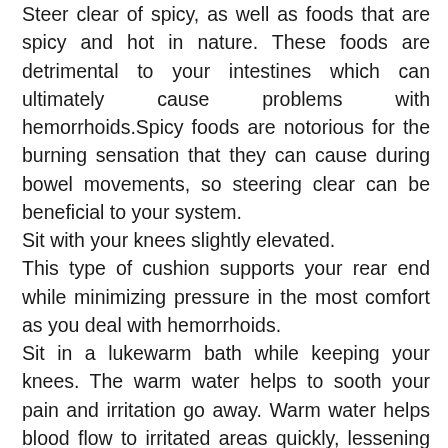Steer clear of spicy, as well as foods that are spicy and hot in nature. These foods are detrimental to your intestines which can ultimately cause problems with hemorrhoids.Spicy foods are notorious for the burning sensation that they can cause during bowel movements, so steering clear can be beneficial to your system.
Sit with your knees slightly elevated.
This type of cushion supports your rear end while minimizing pressure in the most comfort as you deal with hemorrhoids.
Sit in a lukewarm bath while keeping your knees. The warm water helps to sooth your pain and irritation go away. Warm water helps blood flow to irritated areas quickly, lessening the pain and swelling.
This article told you about hemorrhoids, and offered assistance regarding their treatment. Hemorrhoids are very common and rarely require surgery. Most